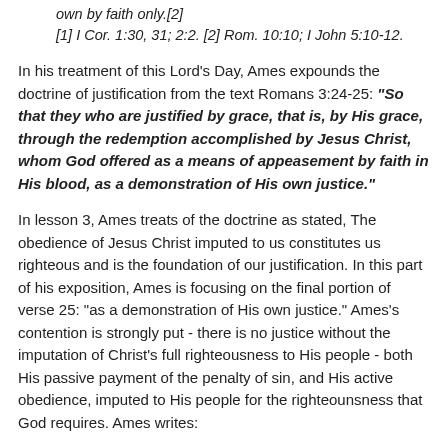own by faith only.[2]
[1] I Cor. 1:30, 31; 2:2. [2] Rom. 10:10; I John 5:10-12.
In his treatment of this Lord's Day, Ames expounds the doctrine of justification from the text Romans 3:24-25: "So that they who are justified by grace, that is, by His grace, through the redemption accomplished by Jesus Christ, whom God offered as a means of appeasement by faith in His blood, as a demonstration of His own justice."
In lesson 3, Ames treats of the doctrine as stated, The obedience of Jesus Christ imputed to us constitutes us righteous and is the foundation of our justification. In this part of his exposition, Ames is focusing on the final portion of verse 25: "as a demonstration of His own justice." Ames's contention is strongly put - there is no justice without the imputation of Christ's full righteousness to His people - both His passive payment of the penalty of sin, and His active obedience, imputed to His people for the righteounsness that God requires. Ames writes: